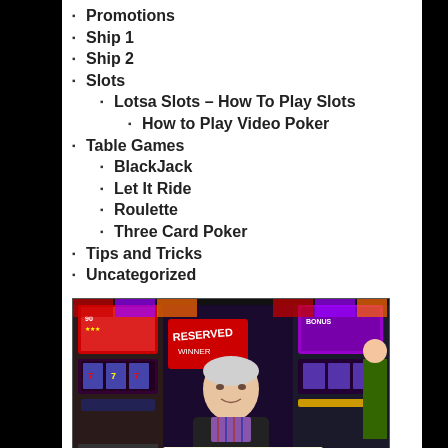Promotions
Ship 1
Ship 2
Slots
Lotsa Slots – How To Play Slots
How to Play Video Poker
Table Games
BlackJack
Let It Ride
Roulette
Three Card Poker
Tips and Tricks
Uncategorized
[Figure (photo): An elderly man standing in front of slot machines in a casino, holding a sign or ticket. Slot machines with colorful displays visible in background. A sign reading 'RESERVED' is visible. Date 6.8.22 visible on a slip.]